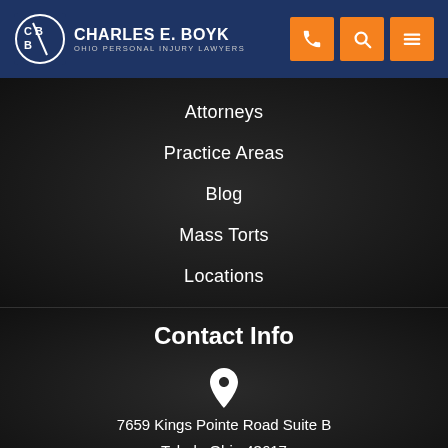[Figure (logo): Charles E. Boyk Ohio Personal Injury Lawyers logo with CBB icon and orange phone, search, and menu buttons]
Attorneys
Practice Areas
Blog
Mass Torts
Locations
Contact Info
7659 Kings Pointe Road Suite B
Toledo Ohio 43617